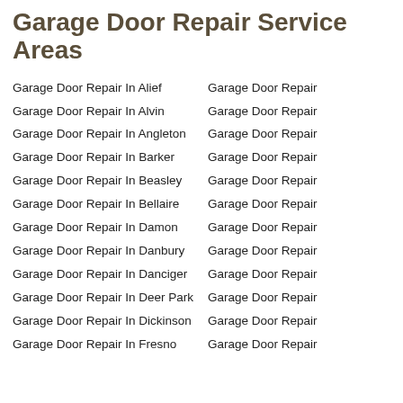Garage Door Repair Service Areas
Garage Door Repair In Alief
Garage Door Repair In Alvin
Garage Door Repair In Angleton
Garage Door Repair In Barker
Garage Door Repair In Beasley
Garage Door Repair In Bellaire
Garage Door Repair In Damon
Garage Door Repair In Danbury
Garage Door Repair In Danciger
Garage Door Repair In Deer Park
Garage Door Repair In Dickinson
Garage Door Repair In Fresno
Garage Door Repair
Garage Door Repair
Garage Door Repair
Garage Door Repair
Garage Door Repair
Garage Door Repair
Garage Door Repair
Garage Door Repair
Garage Door Repair
Garage Door Repair
Garage Door Repair
Garage Door Repair